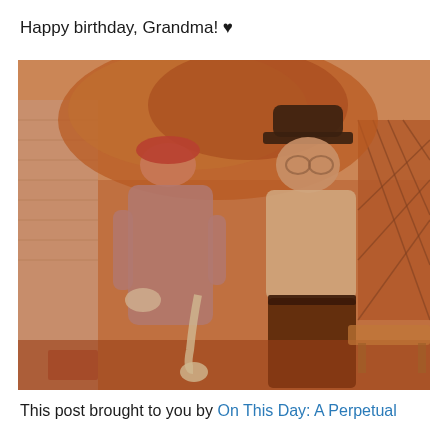Happy birthday, Grandma! ♥
[Figure (photo): Vintage sepia-toned photograph of an elderly woman in a grey dress and red hat standing next to an elderly man in a white shirt, dark pants, and dark fedora hat, posing outdoors in front of a white building with autumn foliage in the background.]
This post brought to you by On This Day: A Perpetual Calendar for Family Genealogists